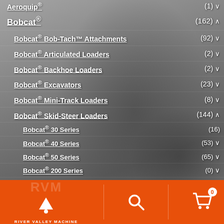Aeroquip® (1)
Bobcat® (162)
Bobcat® Bob-Tach™ Attachments (92)
Bobcat® Articulated Loaders (2)
Bobcat® Backhoe Loaders (2)
Bobcat® Excavators (23)
Bobcat® Mini-Track Loaders (8)
Bobcat® Skid-Steer Loaders (144)
Bobcat® 30 Series (16)
Bobcat® 40 Series (53)
Bobcat® 50 Series (65)
Bobcat® 200 Series (0)
River Valley Machine — Search | Cart (0)